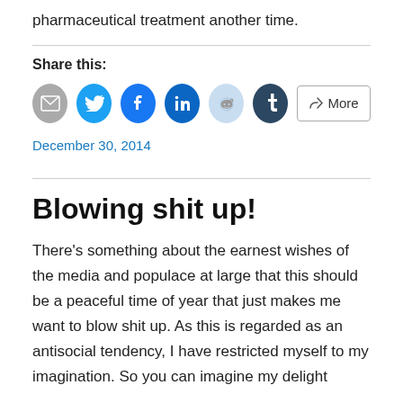pharmaceutical treatment another time.
Share this:
[Figure (other): Social share buttons: email, Twitter, Facebook, LinkedIn, Reddit, Tumblr, and More]
December 30, 2014
Blowing shit up!
There's something about the earnest wishes of the media and populace at large that this should be a peaceful time of year that just makes me want to blow shit up. As this is regarded as an antisocial tendency, I have restricted myself to my imagination. So you can imagine my delight